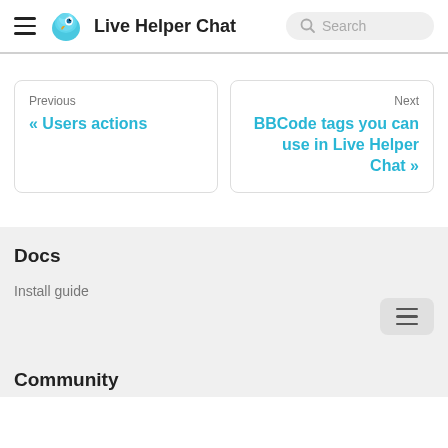Live Helper Chat
Previous
« Users actions
Next
BBCode tags you can use in Live Helper Chat »
Docs
Install guide
Community